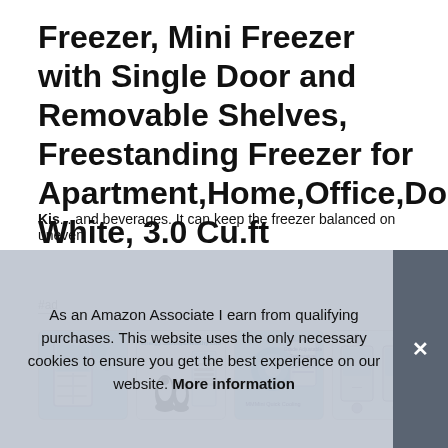Freezer, Mini Freezer with Single Door and Removable Shelves, Freestanding Freezer for Apartment,Home,Office,Dormitory White, 3.0 Cu.ft
#ad
[Figure (photo): Four product thumbnail images of the mini freezer, showing the appliance from different angles and with feature callouts including energy saving healthy life text and penguin illustrations]
Kis... and beverages. It can keep the freezer balanced on uneven
As an Amazon Associate I earn from qualifying purchases. This website uses the only necessary cookies to ensure you get the best experience on our website. More information